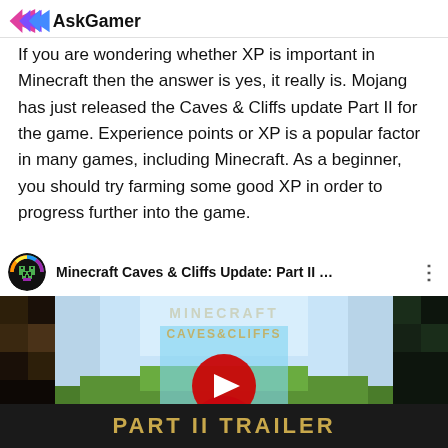AskGamer
If you are wondering whether XP is important in Minecraft then the answer is yes, it really is. Mojang has just released the Caves & Cliffs update Part II for the game. Experience points or XP is a popular factor in many games, including Minecraft. As a beginner, you should try farming some good XP in order to progress further into the game.
[Figure (screenshot): YouTube embed showing Minecraft Caves & Cliffs Update: Part II trailer video with play button overlay and 'PART II TRAILER' text at bottom]